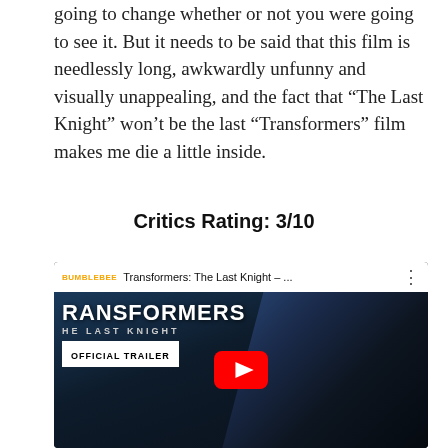going to change whether or not you were going to see it. But it needs to be said that this film is needlessly long, awkwardly unfunny and visually unappealing, and the fact that “The Last Knight” won’t be the last “Transformers” film makes me die a little inside.
Critics Rating: 3/10
[Figure (screenshot): YouTube video embed showing Transformers: The Last Knight official trailer thumbnail. Top bar shows BumbleBee channel logo, video title 'Transformers: The Last Knight – ...' and three-dot menu. Main image shows the Transformers logo, 'THE LAST KNIGHT' subtitle, 'OFFICIAL TRAILER' box, a robot character on the right, and a red YouTube play button in the center.]